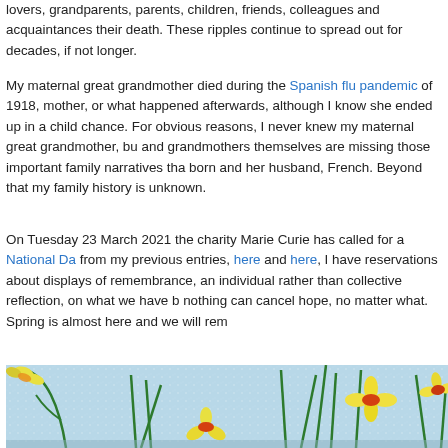lovers, grandparents, parents, children, friends, colleagues and acquaintances their death. These ripples continue to spread out for decades, if not longer.
My maternal great grandmother died during the Spanish flu pandemic of 1918, mother, or what happened afterwards, although I know she ended up in a child chance. For obvious reasons, I never knew my maternal great grandmother, bu and grandmothers themselves are missing those important family narratives tha born and her husband, French. Beyond that my family history is unknown.
On Tuesday 23 March 2021 the charity Marie Curie has called for a National Da from my previous entries, here and here, I have reservations about displays of remembrance, an individual rather than collective reflection, on what we have b nothing can cancel hope, no matter what. Spring is almost here and we will rem
[Figure (illustration): Digital illustration of yellow and orange daffodil flowers with tall green stems and leaves against a light blue sparkly background.]